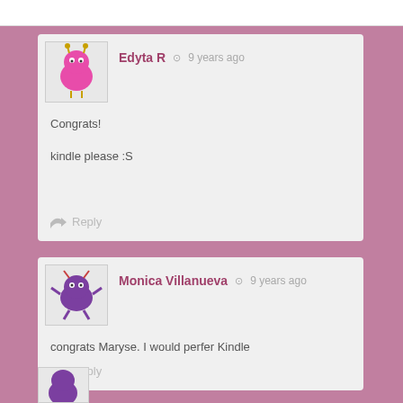Edyta R · 9 years ago
Congrats!
kindle please :S
Reply
Monica Villanueva · 9 years ago
congrats Maryse. I would perfer Kindle
Reply